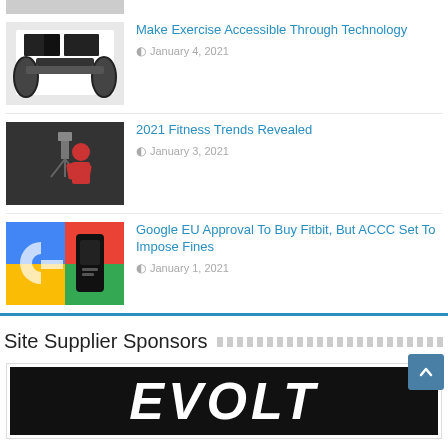[Figure (photo): Partial image at top of page – bottom portion of a fitness equipment thumbnail]
Make Exercise Accessible Through Technology
January 4, 2021
[Figure (photo): Person doing a workout exercise in a gym with camera equipment]
2021 Fitness Trends Revealed
January 3, 2021
[Figure (photo): Google logo (multicolor G) next to a Fitbit smartwatch]
Google EU Approval To Buy Fitbit, But ACCC Set To Impose Fines
January 1, 2021
Site Supplier Sponsors
[Figure (logo): EVOLT logo in white italic text on black background]